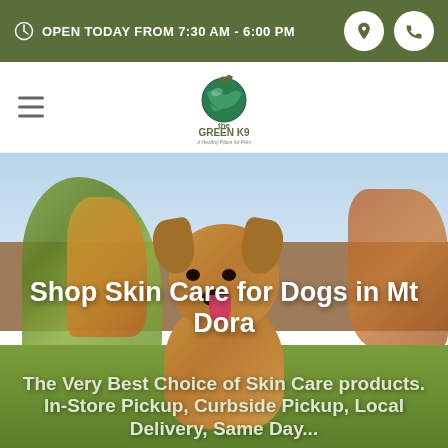OPEN TODAY FROM 7:30 AM - 6:00 PM
[Figure (logo): The Green K9 logo - a globe with dog illustration and tagline 'A Healthy Place for Pets']
Shop Skin Care for Dogs in Mt Dora
The Very Best Choice of Skin Care products. In-Store Pickup, Curbside Pickup, Local Delivery, Same Day...